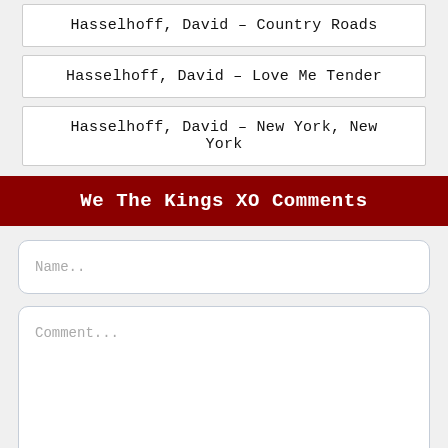Hasselhoff, David – Country Roads
Hasselhoff, David – Love Me Tender
Hasselhoff, David – New York, New York
We The Kings XO Comments
Name..
Comment...